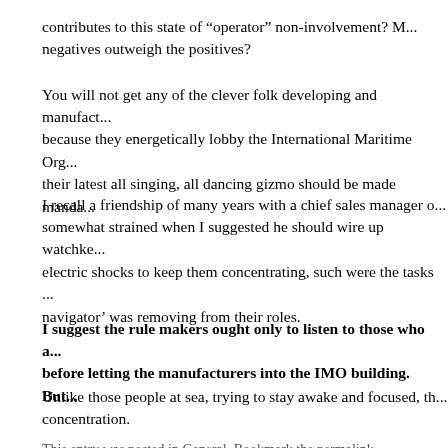contributes to this state of “operator” non-involvement? M... negatives outweigh the positives?
You will not get any of the clever folk developing and manufact... because they energetically lobby the International Maritime Org... their latest all singing, all dancing gizmo should be made manda...
I recall a friendship of many years with a chief sales manager o... somewhat strained when I suggested he should wire up watchke... electric shocks to keep them concentrating, such were the tasks ... navigator’ was removing from their roles.
I suggest the rule makers ought only to listen to those who a... before letting the manufacturers into the IMO building. But...
Unlike those people at sea, trying to stay awake and focused, th... concentration.
This entry was posted in General. Bookmark the permalink.